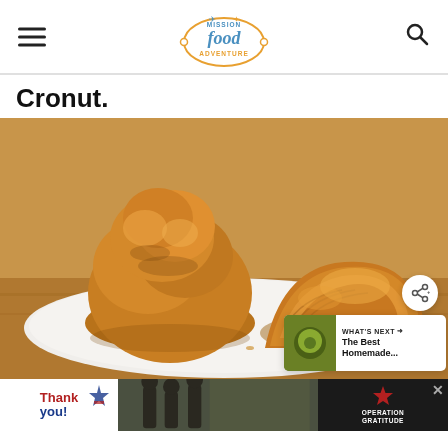Mission Food Adventure
Cronut.
[Figure (photo): Photo of two cronuts (croissant-donut hybrids) on a white plate on a wooden table. One cronut is piled high on the left, the other is a flatter croissant-style pastry on the right. Both are golden-brown and flaky. A share button and a 'What's Next' thumbnail overlay are in the bottom-right corner.]
[Figure (infographic): Advertisement banner at the bottom: 'Thank you!' military appreciation ad for Operation Gratitude with a handwritten thank you note, military imagery, and an Operation Gratitude logo.]